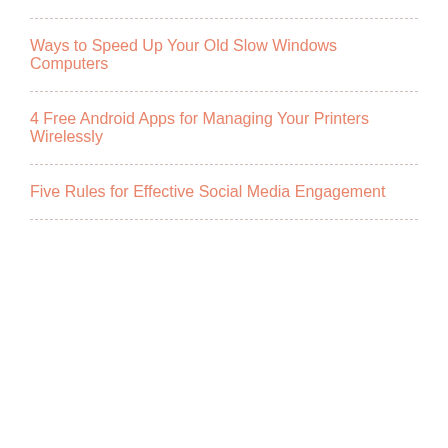Ways to Speed Up Your Old Slow Windows Computers
4 Free Android Apps for Managing Your Printers Wirelessly
Five Rules for Effective Social Media Engagement